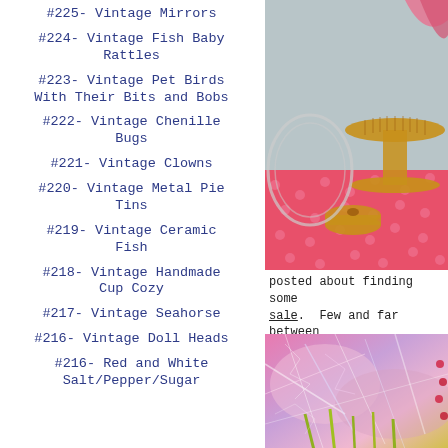#225- Vintage Mirrors
#224- Vintage Fish Baby Rattles
#223- Vintage Pet Birds With Their Bits and Bobs
#222- Vintage Chenille Bugs
#221- Vintage Clowns
#220- Vintage Metal Pie Tins
#219- Vintage Ceramic Fish
#218- Vintage Handmade Cup Cozy
#217- Vintage Seahorse
#216- Vintage Doll Heads
#216- Red and White Salt/Pepper/Sugar
[Figure (photo): Amber/gold vintage glass items including a cake stand, decorative glass plate, and a small lidded dish on a pink polka-dot surface]
posted about finding some sale.  Few and far between
[Figure (photo): Close-up of pink and multicolored vintage glass or crystal items with intricate patterns]